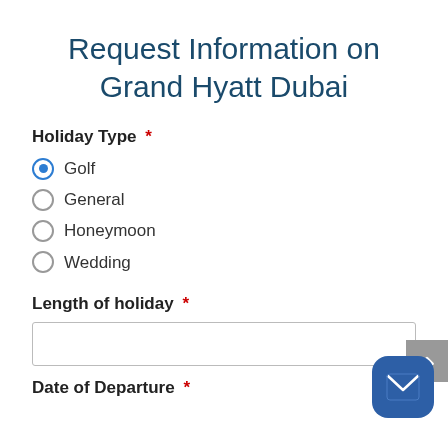Request Information on Grand Hyatt Dubai
Holiday Type *
Golf (selected)
General
Honeymoon
Wedding
Length of holiday *
Date of Departure *